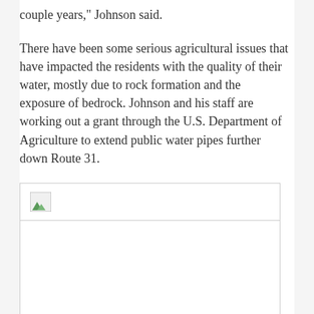couple years," Johnson said.
There have been some serious agricultural issues that have impacted the residents with the quality of their water, mostly due to rock formation and the exposure of bedrock. Johnson and his staff are working out a grant through the U.S. Department of Agriculture to extend public water pipes further down Route 31.
[Figure (photo): A broken/missing image placeholder shown as a bordered rectangle with a small broken image icon in the top-left corner.]